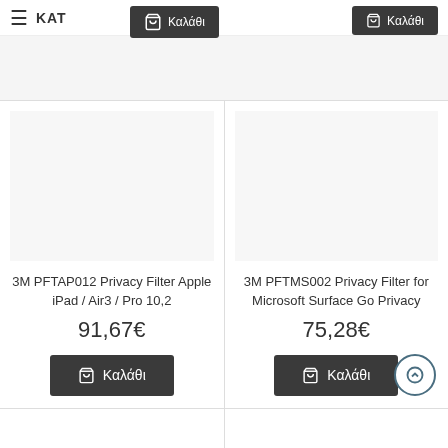≡ ΚΑΤ
0 προϊόν(τα)- 0,
[Figure (screenshot): Product card: 3M PFTAP012 Privacy Filter Apple iPad / Air3 / Pro 10,2 — price 91,67€ with Καλάθι (add to cart) button]
[Figure (screenshot): Product card: 3M PFTMS002 Privacy Filter for Microsoft Surface Go Privacy — price 75,28€ with Καλάθι (add to cart) button]